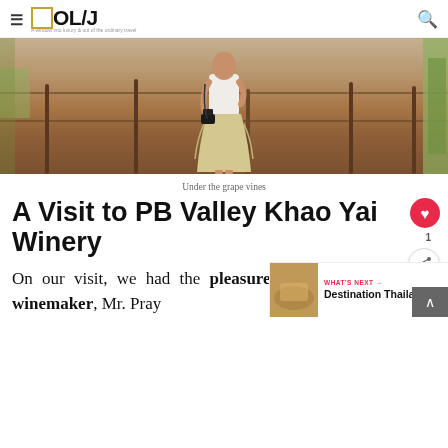≡ OL/J — A window into luxury & out of the ordinary travel
[Figure (photo): Person wearing white top and beige ruffled skirt walking under grape vine trellis, holding a camera, viewed from behind. Vineyard with dry earth and wooden posts.]
Under the grape vines
A Visit to PB Valley Khao Yai Winery
On our visit, we had the pleasure of chatting with the winemaker, Mr. Pray